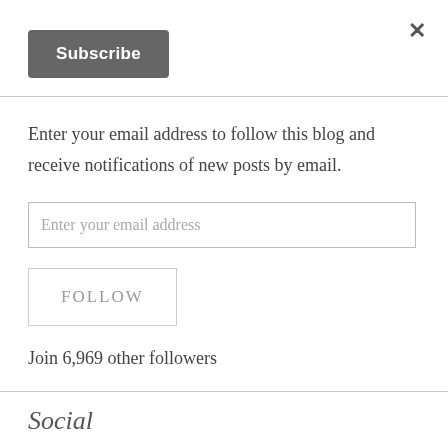×
Subscribe
Enter your email address to follow this blog and receive notifications of new posts by email.
Enter your email address
FOLLOW
Join 6,969 other followers
Social